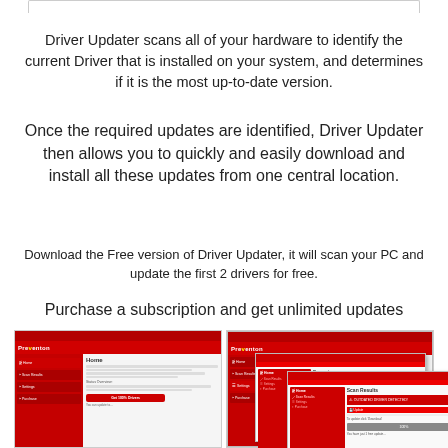[Figure (screenshot): Top border of a UI panel/window]
Driver Updater scans all of your hardware to identify the current Driver that is installed on your system, and determines if it is the most up-to-date version.
Once the required updates are identified, Driver Updater then allows you to quickly and easily download and install all these updates from one central location.
Download the Free version of Driver Updater, it will scan your PC and update the first 2 drivers for free.
Purchase a subscription and get unlimited updates
[Figure (screenshot): Four overlapping screenshots of the Preventon Driver Updater software interface showing Home, Settings, Scanning, and Scan Results screens]